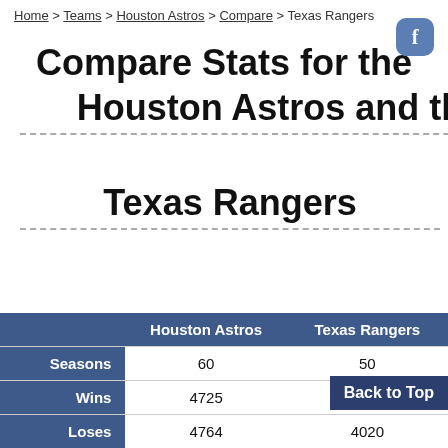Home > Teams > Houston Astros > Compare > Texas Rangers
Compare Stats for the Houston Astros and the Texas Rangers
|  | Houston Astros | Texas Rangers |
| --- | --- | --- |
| Seasons | 60 | 50 |
| Wins | 4725 | 3848 |
| Loses | 4764 | 4020 |